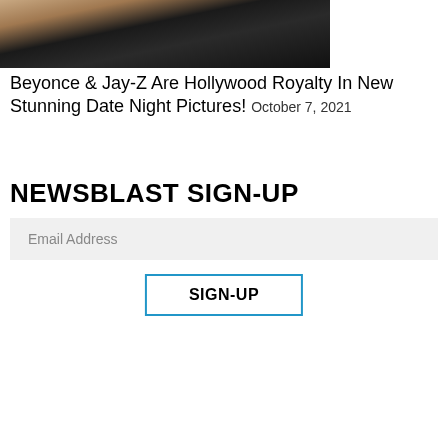[Figure (photo): Photo of two people dressed in formal attire — a woman in black and a man in a black tuxedo with white shirt]
Beyonce & Jay-Z Are Hollywood Royalty In New Stunning Date Night Pictures! October 7, 2021
NEWSBLAST SIGN-UP
Email Address
SIGN-UP